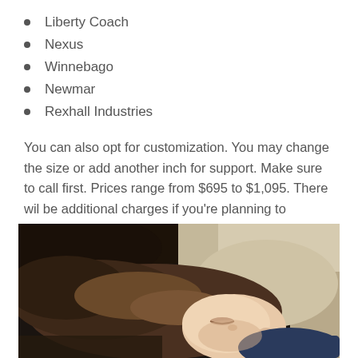Liberty Coach
Nexus
Winnebago
Newmar
Rexhall Industries
You can also opt for customization. You may change the size or add another inch for support. Make sure to call first. Prices range from $695 to $1,095. There wil be additional charges if you’re planning to customize.
[Figure (photo): A young child sleeping peacefully on a bed with light-colored blanket, wearing a navy blue shirt, viewed from above at close range.]